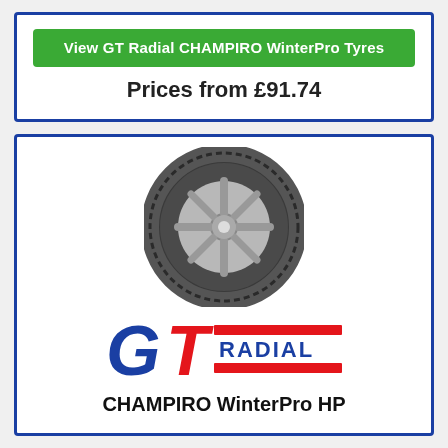View GT Radial CHAMPIRO WinterPro Tyres
Prices from £91.74
[Figure (photo): GT Radial Champiro WinterPro HP tyre product photo, side view showing tread pattern and alloy rim]
[Figure (logo): GT Radial logo in blue and red with stylized G and T letters and RADIAL text]
CHAMPIRO WinterPro HP